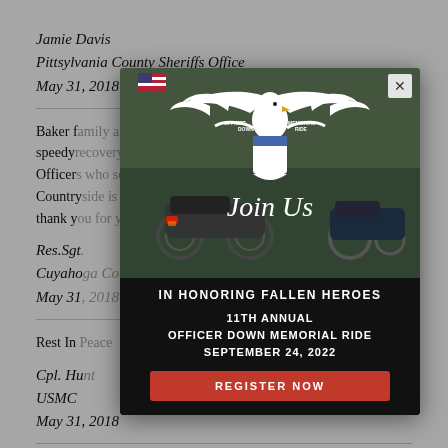Jamie Davis
Pittsylvania County Sheriffs Office
May 31, 2018
Baker f... a speedy... Officer... Country... t of all thank y... Duty.
Res.Sgt...
Cuyaho...
May 31...
Rest In...
Cpl. Hu...
USMC
May 31, 2018
Thoughts and prayers for the family of officer Baker and
[Figure (infographic): Officer Down Memorial Ride modal popup with eagle logo, motorcycles background, text 'Join Us IN HONORING FALLEN HEROES 11TH ANNUAL OFFICER DOWN MEMORIAL RIDE SEPTEMBER 24, 2022' and a red REGISTER NOW button]